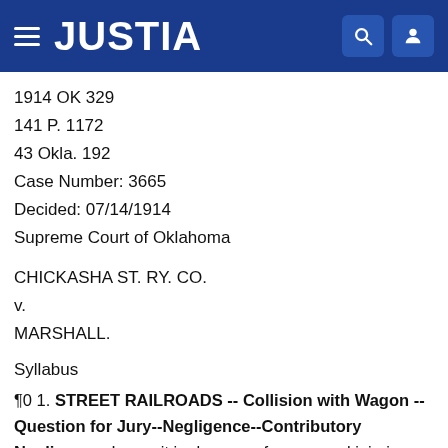JUSTIA
1914 OK 329
141 P. 1172
43 Okla. 192
Case Number: 3665
Decided: 07/14/1914
Supreme Court of Oklahoma
CHICKASHA ST. RY. CO.
v.
MARSHALL.
Syllabus
¶0 1. STREET RAILROADS -- Collision with Wagon -- Question for Jury--Negligence--Contributory Negligence. In a suit in damages for personal injuries, where the evidence discloses that the car struck the wagon while it was crossing the track at the intersection of two streets,